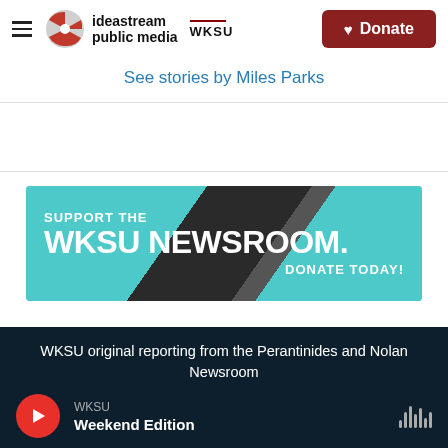[Figure (logo): Ideastream Public Media / WKSU logo with hamburger menu and Donate button]
See stories by Miles Parks
[Figure (infographic): WKSU Newsroom support banner: SUPPORT THE WKSU NEWSROOM. DONATE TODAY!]
WKSU original reporting from the Perantinides and Nolan Newsroom
WKSU
Weekend Edition